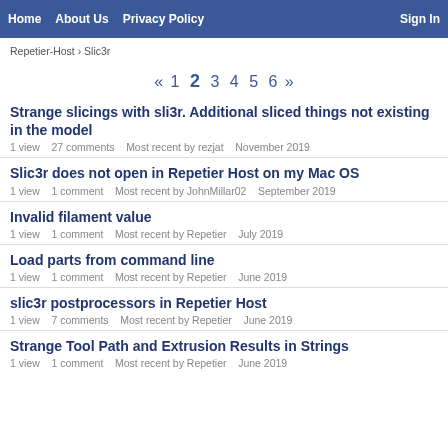Home  About Us  Privacy Policy  Sign In
Repetier-Host › Slic3r
« 1 2 3 4 5 6 »
Strange slicings with sli3r. Additional sliced things not existing in the model
1 view  27 comments  Most recent by rezjat  November 2019
Slic3r does not open in Repetier Host on my Mac OS
1 view  1 comment  Most recent by JohnMillar02  September 2019
Invalid filament value
1 view  1 comment  Most recent by Repetier  July 2019
Load parts from command line
1 view  1 comment  Most recent by Repetier  June 2019
slic3r postprocessors in Repetier Host
1 view  7 comments  Most recent by Repetier  June 2019
Strange Tool Path and Extrusion Results in Strings
1 view  1 comment  Most recent by Repetier  June 2019